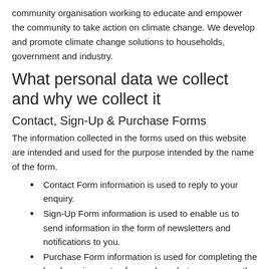community organisation working to educate and empower the community to take action on climate change. We develop and promote climate change solutions to households, government and industry.
What personal data we collect and why we collect it
Contact, Sign-Up & Purchase Forms
The information collected in the forms used on this website are intended and used for the purpose intended by the name of the form.
Contact Form information is used to reply to your enquiry.
Sign-Up Form information is used to enable us to send information in the form of newsletters and notifications to you.
Purchase Form information is used for completing the legal requirements of a purchase between you as the customer and CAN.